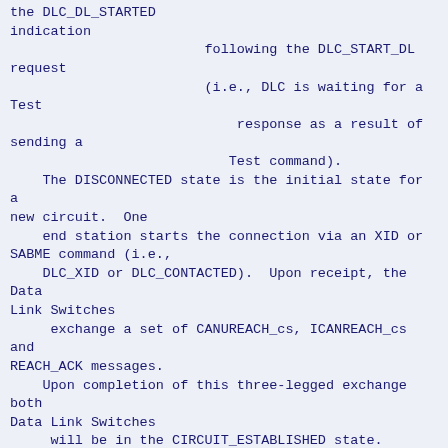the DLC_DL_STARTED indication
                        following the DLC_START_DL request
                        (i.e., DLC is waiting for a Test
                        response as a result of sending a
                        Test command).
    The DISCONNECTED state is the initial state for a new circuit.  One
    end station starts the connection via an XID or SABME command (i.e.,
    DLC_XID or DLC_CONTACTED).  Upon receipt, the Data Link Switches
     exchange a set of CANUREACH_cs, ICANREACH_cs and REACH_ACK messages.
    Upon completion of this three-legged exchange both Data Link Switches
     will be in the CIRCUIT_ESTABLISHED state.  Three pending states also
      exist during this exchange.  The CIRCUIT_START state is entered by
    the origin Data Link Switch after it has sent the CANUREACH_cs
    message.  The RESOLVE_PENDING state is entered by the target Data
      Link Switch awaiting a Test response to a Test Command.  And lastly,
    the CIRCUIT_PENDING state is entered by the target